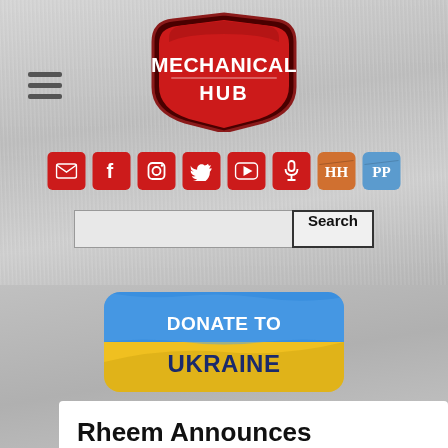[Figure (logo): Mechanical Hub logo — red shield badge with white text reading MECHANICAL HUB]
[Figure (infographic): Row of social media icons: email, Facebook, Instagram, Twitter, YouTube, microphone (podcast), HH badge (orange), PP badge (blue)]
[Figure (screenshot): Search bar with text input field and Search button]
[Figure (illustration): Donate to Ukraine banner with blue and yellow Ukrainian flag colors and white/dark text reading DONATE TO UKRAINE]
Rheem Announces